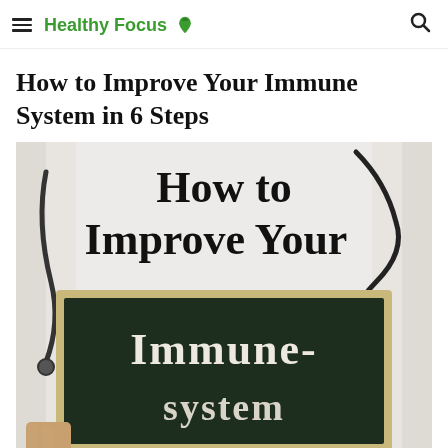Healthy Focus
How to Improve Your Immune System in 6 Steps
[Figure (photo): Photo of a doctor holding a small chalkboard that reads 'Immune-system' with text overlay 'How to Improve Your' above. Doctor wears white coat with stethoscope.]